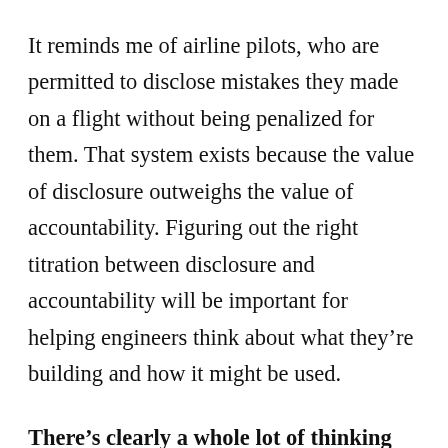It reminds me of airline pilots, who are permitted to disclose mistakes they made on a flight without being penalized for them. That system exists because the value of disclosure outweighs the value of accountability. Figuring out the right titration between disclosure and accountability will be important for helping engineers think about what they’re building and how it might be used.
There’s clearly a whole lot of thinking and writing that will have to be done to map out these problems, and to develop potential